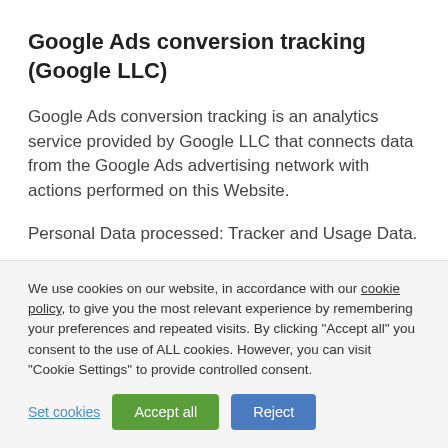Google Ads conversion tracking (Google LLC)
Google Ads conversion tracking is an analytics service provided by Google LLC that connects data from the Google Ads advertising network with actions performed on this Website.
Personal Data processed: Tracker and Usage Data.
Place of processing: United States — Privacy Policy
We use cookies on our website, in accordance with our cookie policy, to give you the most relevant experience by remembering your preferences and repeated visits. By clicking "Accept all" you consent to the use of ALL cookies. However, you can visit "Cookie Settings" to provide controlled consent.
Set cookies | Accept all | Reject